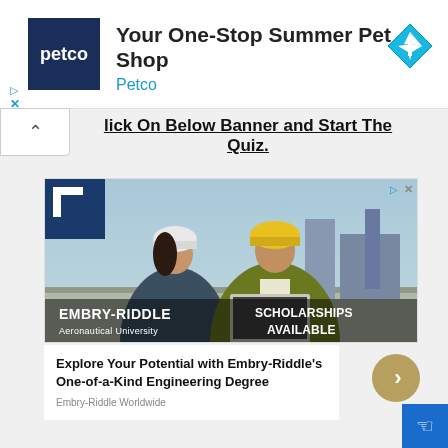[Figure (screenshot): Petco ad banner: Petco logo (dark blue square with 'petco' text), headline 'Your One-Stop Summer Pet Shop', brand name 'Petco' in blue, and a cyan diamond/direction icon on the right]
lick On Below Banner and Start The Quiz.
[Figure (photo): Embry-Riddle Aeronautical University advertisement banner showing two people in hard hats and safety vests at what appears to be an airport/airfield, with the text 'EMBRY-RIDDLE Aeronautical University' and 'SCHOLARSHIPS AVAILABLE']
Explore Your Potential with Embry-Riddle's One-of-a-Kind Engineering Degree
Embry-Riddle Worldwide